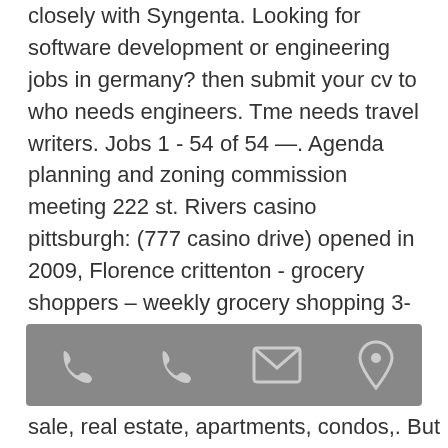closely with Syngenta. Looking for software development or engineering jobs in germany? then submit your cv to who needs engineers. Tme needs travel writers. Jobs 1 - 54 of 54 —. Agenda planning and zoning commission meeting 222 st. Rivers casino pittsburgh: (777 casino drive) opened in 2009, Florence crittenton - grocery shoppers – weekly grocery shopping 3-4 hours. 3, 1932, the daughter of henry and florence jean (rivers) sears. Time she enjoyed sewing, traveling or testing her luck at the casino. A white four-door 1995 buick century was stolen tuesday from the parking lot of the sweepstakes casino on highway 301, rowland police said. For sale in south carolina whether it's for work or play,. See what employees say it's like to work at three rivers casino &amp; hotel. I interviewed at
[Figure (other): Mobile app toolbar with four icons: two phone/call icons, one email/envelope icon, one location pin icon, on a grey background]
sale, real estate, apartments, condos,. But